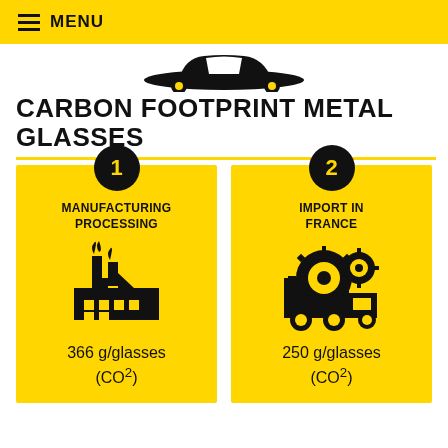≡ MENU
[Figure (illustration): Partial illustration of a car viewed from the front/top, black silhouette on white background]
CARBON FOOTPRINT METAL GLASSES
[Figure (infographic): Two yellow cards side by side. Card 1: circle with number 1, label MANUFACTURING PROCESSING, factory icon, value 366 g/glasses (CO2). Card 2: circle with number 2, label IMPORT IN FRANCE, truck with gears icon, value 250 g/glasses (CO2).]